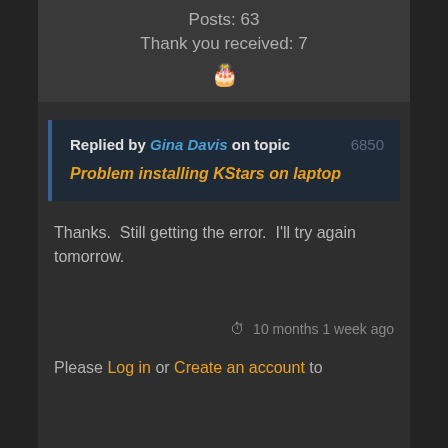Posts: 63
Thank you received: 7
Replied by Gina Davis on topic Problem installing KStars on laptop
Thanks.  Still getting the error.  I'll try again tomorrow.
10 months 1 week ago
Please Log in or Create an account to